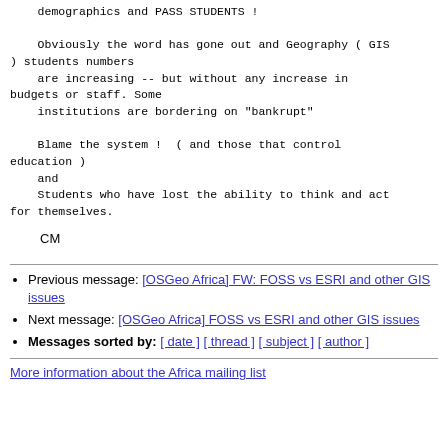demographics and PASS STUDENTS !

    Obviously the word has gone out and Geography ( GIS
) students numbers
    are increasing -- but without any increase in
budgets or staff. Some
    institutions are bordering on "bankrupt"

    Blame the system !  ( and those that control
education )
    and
    Students who have lost the ability to think and act
for themselves.
CM
Previous message: [OSGeo Africa] FW: FOSS vs ESRI and other GIS issues
Next message: [OSGeo Africa] FOSS vs ESRI and other GIS issues
Messages sorted by: [ date ] [ thread ] [ subject ] [ author ]
More information about the Africa mailing list